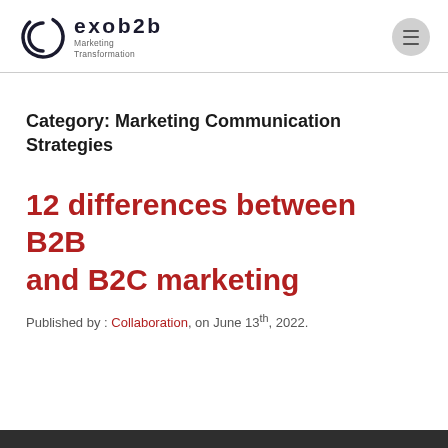exob2b Marketing Transformation
Category: Marketing Communication Strategies
12 differences between B2B and B2C marketing
Published by : Collaboration, on June 13th, 2022.